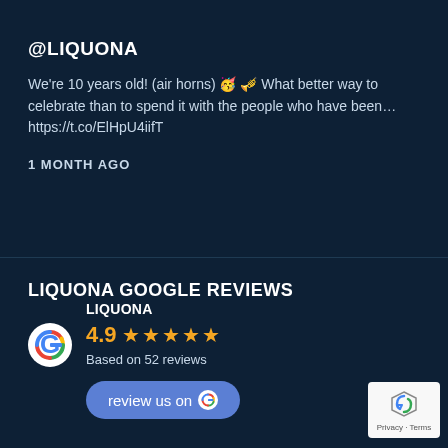@LIQUONA
We're 10 years old! (air horns) 🥳 🎺 What better way to celebrate than to spend it with the people who have been… https://t.co/ElHpU4iifT
1 MONTH AGO
LIQUONA GOOGLE REVIEWS
[Figure (infographic): Google Reviews widget showing LIQUONA with rating 4.9 stars based on 52 reviews, with Google logo and 'review us on Google' button]